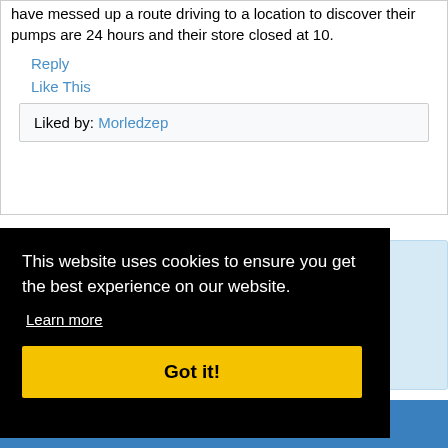have messed up a route driving to a location to discover their pumps are 24 hours and their store closed at 10.
Reply
Like This
Liked by: Morledzep
This website uses cookies to ensure you get the best experience on our website.
Learn more
Got it!